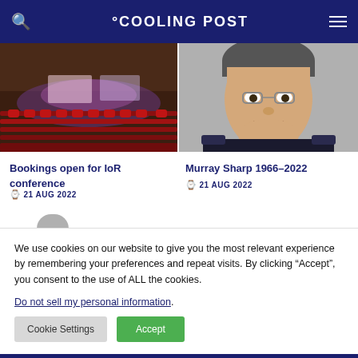COOLING POST
[Figure (photo): Conference hall with rows of red seats and a stage lit in purple and pink light]
Bookings open for IoR conference
21 AUG 2022
[Figure (photo): Portrait of a smiling man in a dark uniform jacket]
Murray Sharp 1966–2022
21 AUG 2022
We use cookies on our website to give you the most relevant experience by remembering your preferences and repeat visits. By clicking “Accept”, you consent to the use of ALL the cookies.
Do not sell my personal information.